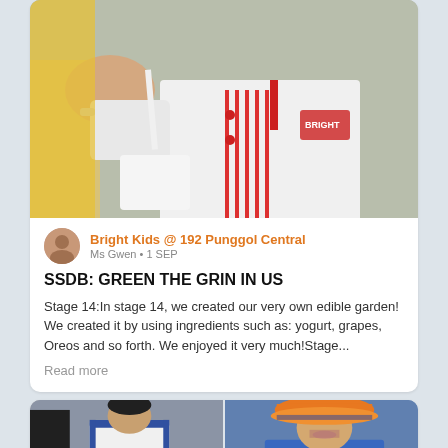[Figure (photo): Child in a white and red striped uniform/apron pouring something into a white cup, in a classroom setting]
Bright Kids @ 192 Punggol Central
Ms Gwen • 1 SEP
SSDB: GREEN THE GRIN IN US
Stage 14:In stage 14, we created our very own edible garden! We created it by using ingredients such as: yogurt, grapes, Oreos and so forth. We enjoyed it very much!Stage...
Read more
[Figure (photo): Two children side by side: left child in white shirt with blue trim, right child wearing orange bucket hat and blue shirt with a drawn-on mustache/face paint]